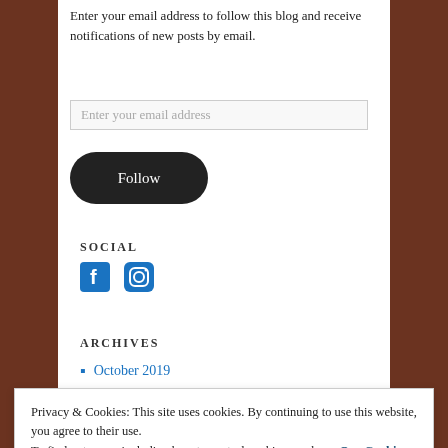Enter your email address to follow this blog and receive notifications of new posts by email.
[Figure (screenshot): Email input field with placeholder text 'Enter your email address']
[Figure (screenshot): Follow button, dark rounded rectangle]
SOCIAL
[Figure (screenshot): Facebook and Instagram social icons in blue]
ARCHIVES
October 2019
Privacy & Cookies: This site uses cookies. By continuing to use this website, you agree to their use.
To find out more, including how to control cookies, see here: Our Cookie Policy
[Figure (screenshot): Close and accept button]